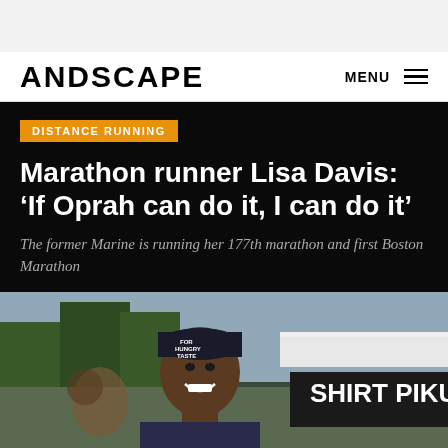ANDSCAPE  MENU
DISTANCE RUNNING
Marathon runner Lisa Davis: ‘If Oprah can do it, I can do it’
The former Marine is running her 177th marathon and first Boston Marathon
[Figure (photo): A smiling Black woman wearing a dark cap with text reading 'FOR HUNGRY TASTE VICTORY' stands at what appears to be a race event, with a sign reading 'SHIRT PICKUP' partially visible. Trees and sky visible in background.]